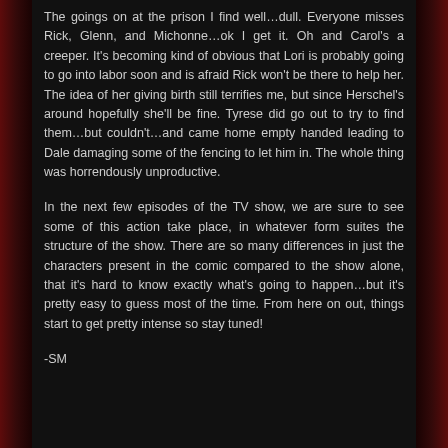The goings on at the prison I find well…dull. Everyone misses Rick, Glenn, and Michonne…ok I get it. Oh and Carol's a creeper. It's becoming kind of obvious that Lori is probably going to go into labor soon and is afraid Rick won't be there to help her. The idea of her giving birth still terrifies me, but since Herschel's around hopefully she'll be fine. Tyrese did go out to try to find them…but couldn't…and came home empty handed leading to Dale damaging some of the fencing to let him in. The whole thing was horrendously unproductive.
In the next few episodes of the TV show, we are sure to see some of this action take place, in whatever form suites the structure of the show. There are so many differences in just the characters present in the comic compared to the show alone, that it's hard to know exactly what's going to happen…but it's pretty easy to guess most of the time. From here on out, things start to get pretty intense so stay tuned!
-SM